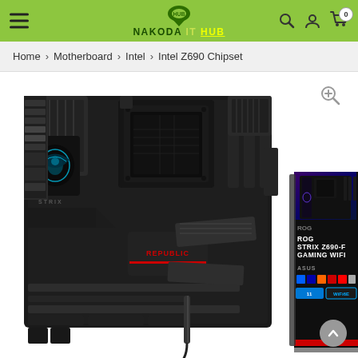Nakoda IT Hub - navigation header with logo, burger menu, search, account, and cart icons
Home > Motherboard > Intel > Intel Z690 Chipset
[Figure (photo): ASUS ROG STRIX Z690-F GAMING WIFI motherboard product photo showing the motherboard itself on the left and its retail box on the right. The box reads 'ROG STRIX Z690-F GAMING WIFI' with ASUS branding and feature icons including WiFi6E and Windows 11.]